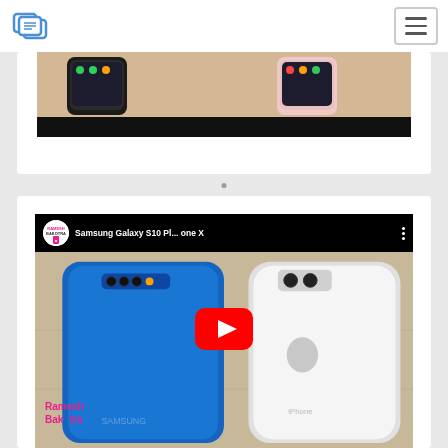[Figure (screenshot): Website navbar with logo icon on left and hamburger menu on right]
[Figure (screenshot): Partial video thumbnail showing two smartphones being held, one black and one pink/white, showing their screens]
[Figure (screenshot): YouTube video embed showing Samsung Galaxy S10 Plus vs iPhone X comparison video by Ramesh Bakotra channel, with YouTube play button overlay and channel branding]
Samsung Galaxy S10 Pl... one X